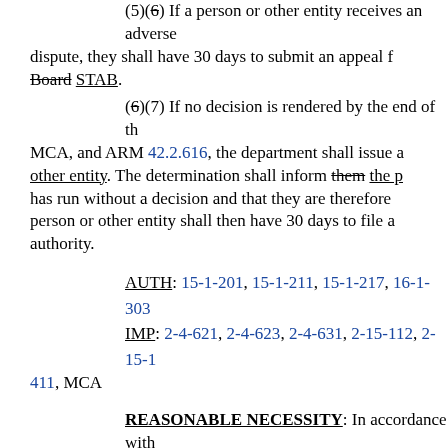(5)(6) If a person or other entity receives an adverse decision in a dispute, they shall have 30 days to submit an appeal for the Board STAB.
(6)(7) If no decision is rendered by the end of the MCA, and ARM 42.2.616, the department shall issue a determination to the person or other entity. The determination shall inform them the person or other entity that the time has run without a decision and that they are therefore deemed to have won. The person or other entity shall then have 30 days to file a claim with the appropriate authority.
AUTH: 15-1-201, 15-1-211, 15-1-217, 16-1-303
IMP: 2-4-621, 2-4-623, 2-4-631, 2-15-112, 2-15-411, MCA
REASONABLE NECESSITY: In accordance with conducted a biennial review of its administrative rules revise the language to add detail regarding the final agency matters, and to make grammatical corrections.
4. Concerned persons may submit their data, views, or arguments either orally or in writing, at the hearing. Written data, views, or arguments may also be submitted to: Laurie Logan, Department of Revenue, Director's Office, P.O. Box telephone (406) 444-7905; fax (406) 444-3696; or e-mail no later than July 15, 2014.
5. Laurie Logan, Department of Revenue, Director's Office,